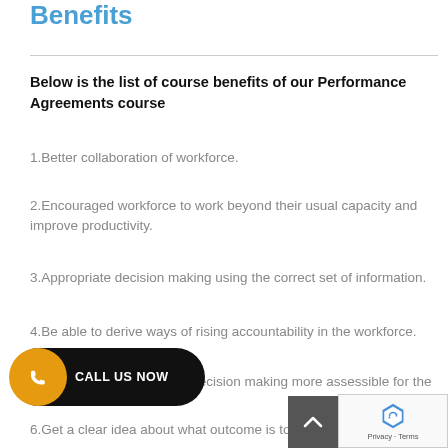Benefits
Below is the list of course benefits of our Performance Agreements course
1.Better collaboration of workforce.
2.Encouraged workforce to work beyond their usual capacity and improve productivity.
3.Appropriate decision making using the correct set of information.
4.Be able to derive ways of rising accountability in the workforce.
5.[partially obscured] decision making more assessible for the [obscured].
6.Get a clear idea about what outcome is to be achiev[ed].